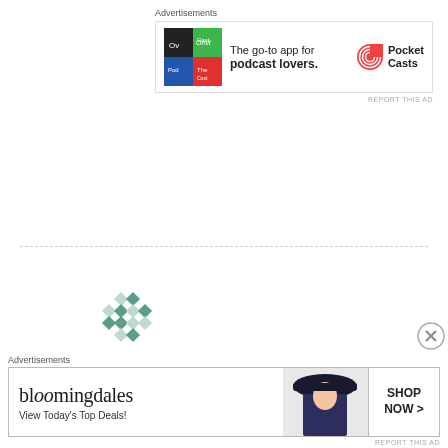[Figure (infographic): Advertisement banner for Pocket Casts app with colorful icon grid and text 'The go-to app for podcast lovers.' with Pocket Casts logo]
REPORT THIS AD
[Figure (illustration): Decorative avatar icon with geometric diamond/cross pattern in teal/gray]
gorannilsen · August 11, 2021
Very nice review,which confirms my findings with gfx 50r. I really like that you are a jpeg only shooter as I am so I will follow your
[Figure (infographic): Bloomingdale's advertisement: 'View Today's Top Deals!' with SHOP NOW > call to action and image of woman in hat]